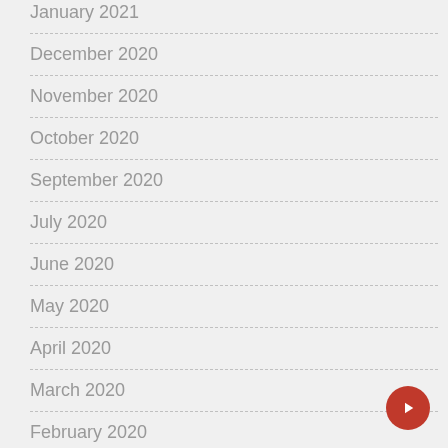January 2021
December 2020
November 2020
October 2020
September 2020
July 2020
June 2020
May 2020
April 2020
March 2020
February 2020
January 2020